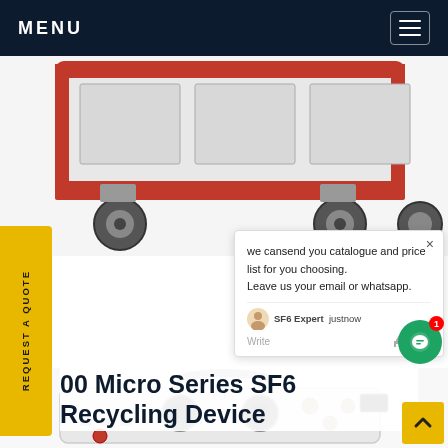MENU
[Figure (photo): Bottom portion of a red industrial SF6 gas recycling machine on casters/wheels, white body with orange/red metal frame, photographed from front-bottom angle on white background]
REQUEST A QUOTE
we cansend you catalogue and price list for you choosing. Leave us your email or whatsapp.
SF6 Expert   justnow
Write
00 Micro Series SF6 Recycling Device
[Figure (photo): Top portion of a white compact SF6 gas recycling device with dual cooling fans, multiple knobs/valves, handle, and control panel, photographed from above on white background]